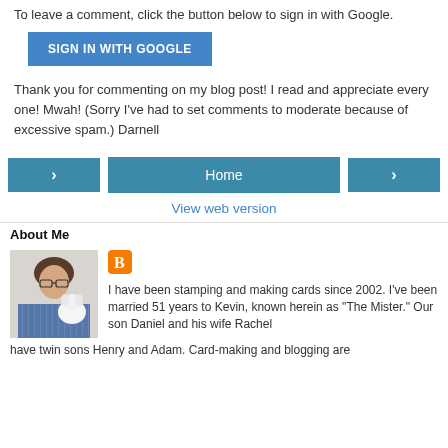To leave a comment, click the button below to sign in with Google.
[Figure (other): Blue 'SIGN IN WITH GOOGLE' button]
Thank you for commenting on my blog post! I read and appreciate every one! Mwah! (Sorry I've had to set comments to moderate because of excessive spam.) Darnell
[Figure (other): Navigation row with left arrow button, Home button, and right arrow button]
View web version
About Me
[Figure (photo): Profile photo of a woman with short brown hair wearing glasses and holding a white dog, next to an orange Blogger icon]
I have been stamping and making cards since 2002. I've been married 51 years to Kevin, known herein as "The Mister." Our son Daniel and his wife Rachel have twin sons Henry and Adam. Card-making and blogging are